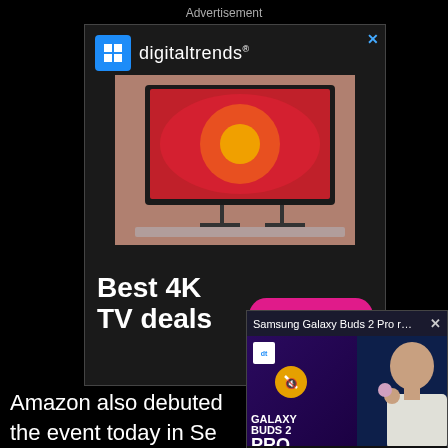Advertisement
[Figure (screenshot): Digital Trends advertisement for Best 4K TV deals featuring a Sony TV displaying a red flower, with logo, headline text 'Best 4K TV deals' and a pink 'READ MORE' button]
Amazon also debuted the event today in Se... Dot (third generation... generation). The Ech... important speaker ou... respect to smart hon...
[Figure (screenshot): Video popup overlay showing Samsung Galaxy Buds 2 Pro review with Digital Trends branding, purple background with text 'GALAXY BUDS 2 PRO' and a man holding a small purple earbud case, with close button]